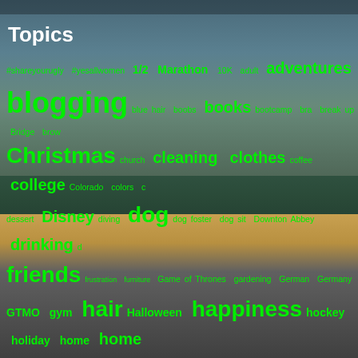Topics
[Figure (infographic): Tag cloud of blog topics displayed in varying green font sizes on a background photo of German-style buildings under a sky. Tags include: #shareyourugly #yesallwomen 1/2 Marathon 10K adult adventures blogging blue hair boobs books bootcamp bra break up Bridge brow Christmas church cleaning clothes coffee college Colorado colors dessert Disney diving dog dog foster dog sit Downton Abbey drinking friends frustration furniture Game of Thrones gardening German Germany GTMO gym hair Halloween happiness hockey holiday home home dominance inner monologue Internet job search joke Kia Sportage Kindle medication MegMo2017 Meri Mike Wazowski military money neighbors Netflix night shots north carolina online dating packing parents presents Psalms 46:10 pumpkin puzzle rain read recipe redneck relationship Teh German Said shoes shopping Show Us Your Books sick singing sunglasses surgery surprise sweet tea talking Target tattoo technology waiting walking Walmart Washington DC weather wedding weekday we]